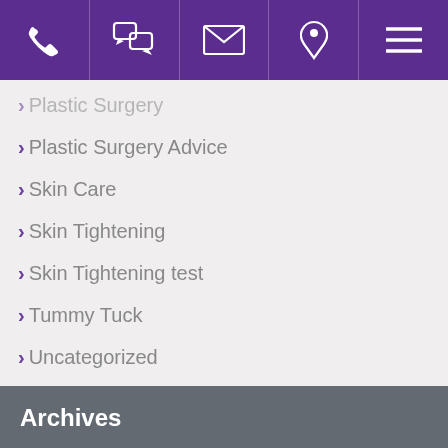[Figure (screenshot): Navigation bar with phone, chat, email, location, and menu icons on purple background]
Plastic Surgery
Plastic Surgery Advice
Skin Care
Skin Tightening
Skin Tightening test
Tummy Tuck
Uncategorized
Archives
Select Month
Quick Links